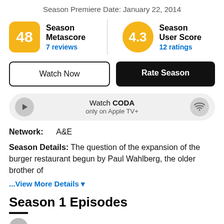Season Premiere Date: January 22, 2014
48 Season Metascore 7 reviews | 4.3 Season User Score 12 ratings
Watch Now
Rate Season
Watch CODA only on Apple TV+
Network: A&E
Season Details: The question of the expansion of the burger restaurant begun by Paul Wahlberg, the older brother of
...View More Details ▾
Season 1 Episodes
S1 E10 MMGs A S...